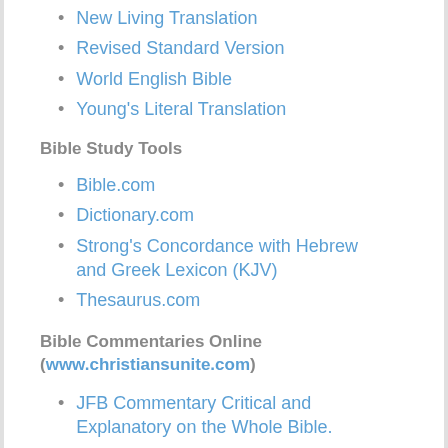New Living Translation
Revised Standard Version
World English Bible
Young's Literal Translation
Bible Study Tools
Bible.com
Dictionary.com
Strong's Concordance with Hebrew and Greek Lexicon (KJV)
Thesaurus.com
Bible Commentaries Online (www.christiansunite.com)
JFB Commentary Critical and Explanatory on the Whole Bible.
John Nelson Darby – Synopsis of the New Testament